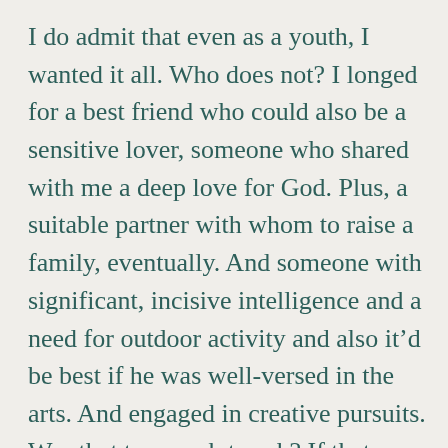I do admit that even as a youth, I wanted it all. Who does not? I longed for a best friend who could also be a sensitive lover, someone who shared with me a deep love for God. Plus, a suitable partner with whom to raise a family, eventually. And someone with significant, incisive intelligence and a need for outdoor activity and also it’d be best if he was well-versed in the arts. And engaged in creative pursuits. Was that too much to ask? If that was what I needed to share in order to be a fulfilled human being, then it just had to happen. I dispassionately evaluated each date in this fashion even as I was enjoying the movie or concert or bike ride with conversation. I sure wasn’t necessarily thinking of marriage, just a